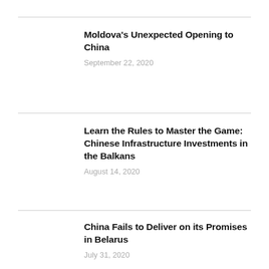Moldova’s Unexpected Opening to China
September 22, 2020
Learn the Rules to Master the Game: Chinese Infrastructure Investments in the Balkans
August 14, 2020
China Fails to Deliver on its Promises in Belarus
July 31, 2020